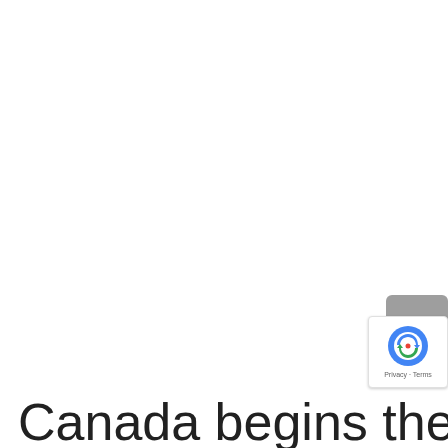[Figure (screenshot): A scroll-to-top button (grey rounded square with upward chevron arrow) positioned at the right side of the page, and a reCAPTCHA badge (Google reCAPTCHA logo with 'Privacy - Terms' text) in the lower right corner.]
Canada begins the